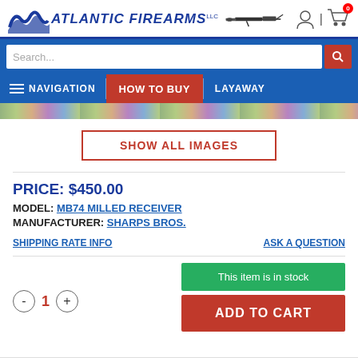[Figure (logo): Atlantic Firearms logo with wave and AK-style rifle silhouette]
[Figure (screenshot): Website navigation header with search bar and nav items: NAVIGATION, HOW TO BUY, LAYAWAY]
SHOW ALL IMAGES
PRICE: $450.00
MODEL: MB74 MILLED RECEIVER
MANUFACTURER: SHARPS BROS.
SHIPPING RATE INFO
ASK A QUESTION
This item is in stock
ADD TO CART